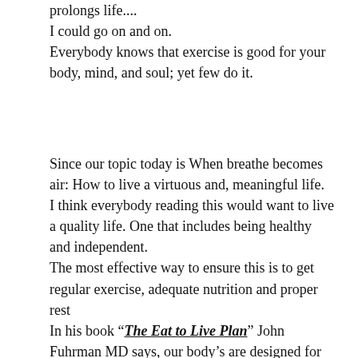prolongs life....
I could go on and on.
Everybody knows that exercise is good for your body, mind, and soul; yet few do it.
Since our topic today is When breathe becomes air: How to live a virtuous and, meaningful life.
I think everybody reading this would want to live a quality life. One that includes being healthy and independent.
The most effective way to ensure this is to get regular exercise, adequate nutrition and proper rest
In his book “The Eat to Live Plan” John Fuhrman MD says, our body’s are designed for wellness. Give it the right biochemical environment for healing and it becomes a miraculous self-healing machine. When you eat mostly high-nutrient foods, the body ages slower and is armed to prevent and reverse many common illnesses, like diabetes.